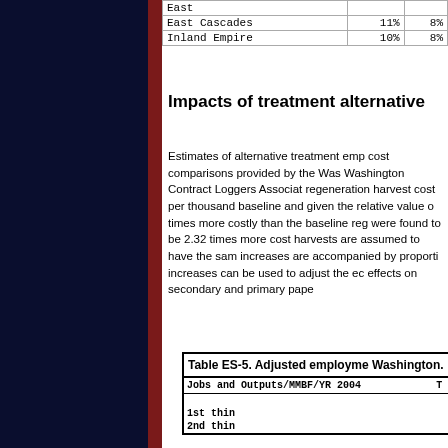|  |  |  |
| --- | --- | --- |
| East |  |  |
| East Cascades | 11% | 8% |
| Inland Empire | 10% | 8% |
Impacts of treatment alternatives
Estimates of alternative treatment employment cost comparisons provided by the Washington Contract Loggers Association regeneration harvest cost per thousand baseline and given the relative value of times more costly than the baseline regeneration were found to be 2.32 times more costly harvests are assumed to have the same increases are accompanied by proportional increases can be used to adjust the economic effects on secondary and primary paper
| Jobs and Outputs/MMBF/YR 2004 | T |
| --- | --- |
| 1st thin |  |
| 2nd thin |  |